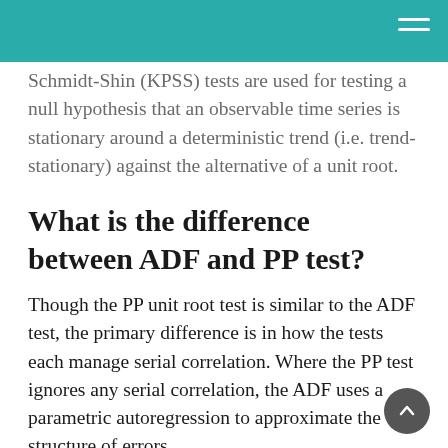Schmidt-Shin (KPSS) tests are used for testing a null hypothesis that an observable time series is stationary around a deterministic trend (i.e. trend-stationary) against the alternative of a unit root.
What is the difference between ADF and PP test?
Though the PP unit root test is similar to the ADF test, the primary difference is in how the tests each manage serial correlation. Where the PP test ignores any serial correlation, the ADF uses a parametric autoregression to approximate the structure of errors.